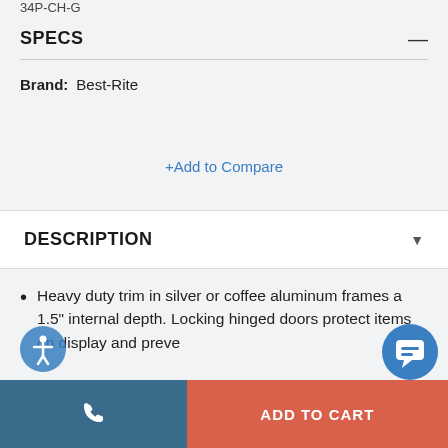34P-CH-G
SPECS
Brand: Best-Rite
+Add to Compare
DESCRIPTION
Heavy duty trim in silver or coffee aluminum frames a 1.5" internal depth. Locking hinged doors protect items on display and preve...